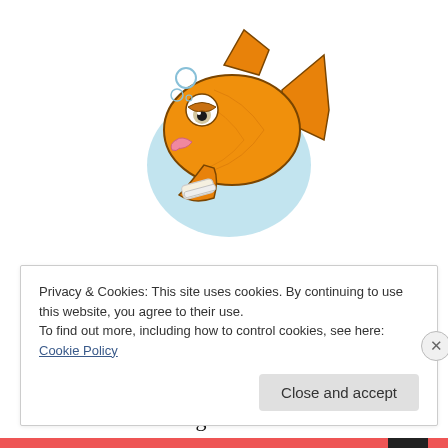[Figure (illustration): Cartoon goldfish with sad/tired expression, orange body, pink lips/tongue, wearing a white bandage/sling on one fin, with light blue water blob in background and small bubbles above]
And a dog in a bog
is a very sad thing
As sad as a walleye
with a fin in a sling
Privacy & Cookies: This site uses cookies. By continuing to use this website, you agree to their use.
To find out more, including how to control cookies, see here: Cookie Policy
Close and accept